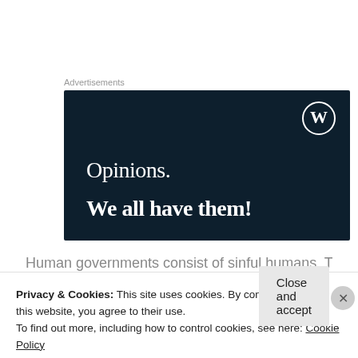Advertisements
[Figure (illustration): WordPress advertisement banner with dark navy background showing WordPress logo in top right, text 'Opinions.' in regular weight serif and 'We all have them!' in bold serif, white text on dark background.]
Human governments consist of sinful humans. They
Privacy & Cookies: This site uses cookies. By continuing to use this website, you agree to their use.
To find out more, including how to control cookies, see here: Cookie Policy
Close and accept